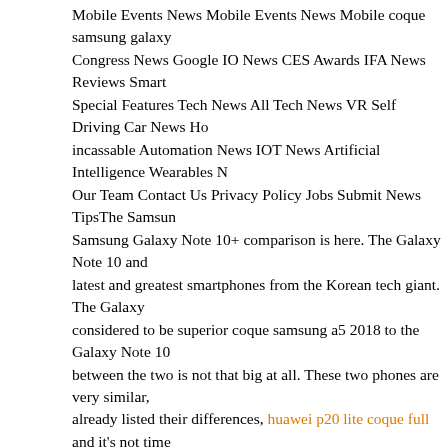Mobile Events News Mobile Events News Mobile coque samsung galaxy... Congress News Google IO News CES Awards IFA News Reviews Smart... Special Features Tech News All Tech News VR Self Driving Car News Ho... incassable Automation News IOT News Artificial Intelligence Wearables N... Our Team Contact Us Privacy Policy Jobs Submit News TipsThe Samsun... Samsung Galaxy Note 10+ comparison is here. The Galaxy Note 10 and... latest and greatest smartphones from the Korean tech giant. The Galaxy... considered to be superior coque samsung a5 2018 to the Galaxy Note 10... between the two is not that big at all. These two phones are very similar,... already listed their differences, huawei p20 lite coque full and it's not time... comparison between coque samsung galaxy s6 chanel the two devices. Y... compared the Samsung Galaxy Note 9 and Galaxy Note 10+, so coque h... refermable coque samsung galaxy a8 amazon it seems only natural to co... 10 coque samsung j3 rose phones now. As per usual, we'll compare them... categories. We'll kick things off with specifications and design, and go fro... hopefully coque samsung galaxy tab 3 lite help some of you decide which... may want to save some cash, and get the Note 10. DesignThese two pho... identical. The Galaxy Note 10+ is larger of the two, and it has one extra c... but that's coque samsung galaxy a7 2017 about it. Those are the only dif... two devices. The Galaxy Note 10+ is a bit more difficult to handle due to i... phones are extremely slippery, and their boxy design does not help. You... aligned cameras on the back of both coque samsung galaxy s4 disney de... fingerprint scanner lies below the display on cdiscount coque samsung i5...